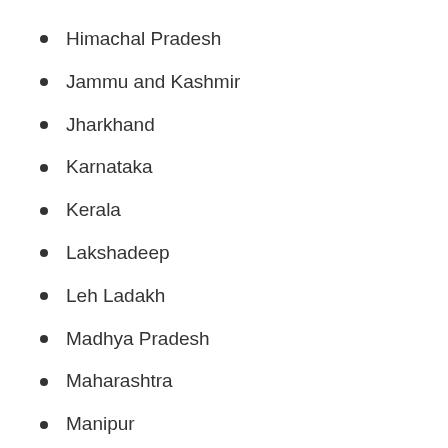Himachal Pradesh
Jammu and Kashmir
Jharkhand
Karnataka
Kerala
Lakshadeep
Leh Ladakh
Madhya Pradesh
Maharashtra
Manipur
Mizoram
Nagaland